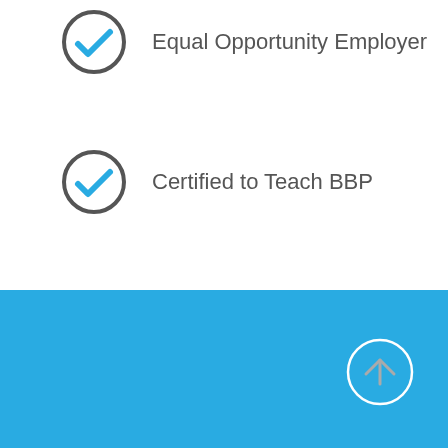Equal Opportunity Employer
Certified to Teach BBP
[Figure (illustration): Blue footer section with a circular up-arrow button on the right side]